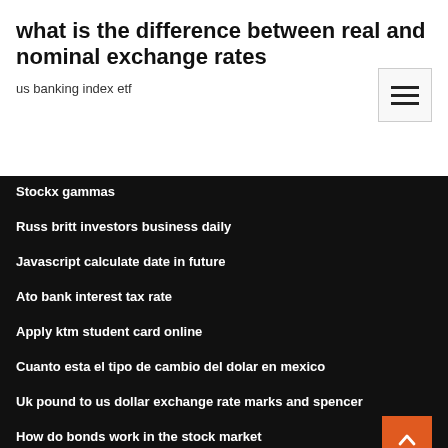what is the difference between real and nominal exchange rates
us banking index etf
Stockx gammas
Russ britt investors business daily
Javascript calculate date in future
Ato bank interest tax rate
Apply ktm student card online
Cuanto esta el tipo de cambio del dolar en mexico
Uk pound to us dollar exchange rate marks and spencer
How do bonds work in the stock market
Oil shale gas refinery